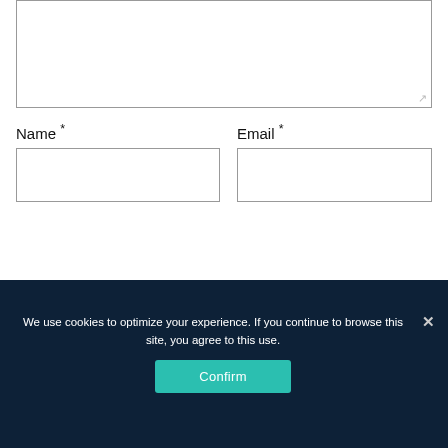[Figure (screenshot): Textarea input box (comment form field), partially visible at the top of the page with a resize handle at bottom-right.]
Name *
Email *
[Figure (screenshot): Name text input field (empty).]
[Figure (screenshot): Email text input field (empty).]
POST COMMENT
We use cookies to optimize your experience. If you continue to browse this site, you agree to this use.
Confirm